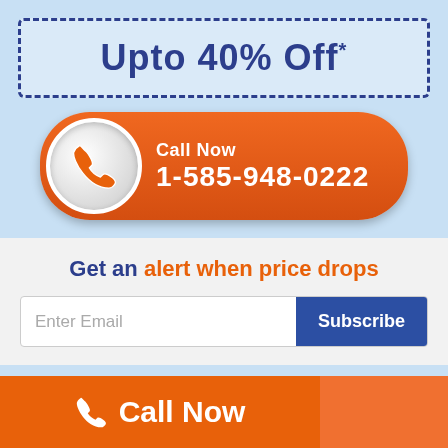Upto 40% Off*
[Figure (infographic): Orange call button with phone icon and number 1-585-948-0222]
Get an alert when price drops
Enter Email | Subscribe
Home » Cheap Flights » Las Vegas to Bangalore
Trustpilot
Call Now